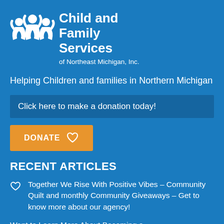[Figure (logo): Child and Family Services of Northeast Michigan, Inc. logo with white figures icon and text]
Helping Children and families in Northern Michigan
Click here to make a donation today!
[Figure (other): DONATE button with heart icon in orange]
RECENT ARTICLES
Together We Rise With Positive Vibes – Community Quilt and monthly Community Giveaways – Get to know more about our agency!
Want to Learn More About Becoming a